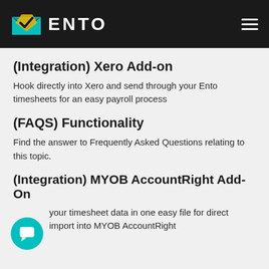ENTO
(Integration) Xero Add-on
Hook directly into Xero and send through your Ento timesheets for an easy payroll process
(FAQS) Functionality
Find the answer to Frequently Asked Questions relating to this topic.
(Integration) MYOB AccountRight Add-On
your timesheet data in one easy file for direct import into MYOB AccountRight